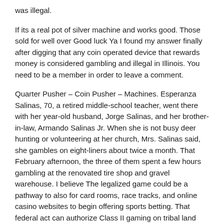was illegal.
If its a real pot of silver machine and works good. Those sold for well over Good luck Ya I found my answer finally after digging that any coin operated device that rewards money is considered gambling and illegal in Illinois. You need to be a member in order to leave a comment.
Quarter Pusher – Coin Pusher – Machines. Esperanza Salinas, 70, a retired middle-school teacher, went there with her year-old husband, Jorge Salinas, and her brother-in-law, Armando Salinas Jr. When she is not busy deer hunting or volunteering at her church, Mrs. Salinas said, she gambles on eight-liners about twice a month. That February afternoon, the three of them spent a few hours gambling at the renovated tire shop and gravel warehouse. I believe The legalized game could be a pathway to also for card rooms, race tracks, and online casino websites to begin offering sports betting. That federal act can authorize Class II gaming on tribal land without state approval.
Please avoid obscene, vulgar, lewd, racist or sexually-oriented language. Threats of harming another person will not be tolerated. Don't knowingly lie about anyone or anything. No racism, sexism or any sort of -ism that is degrading to another person.